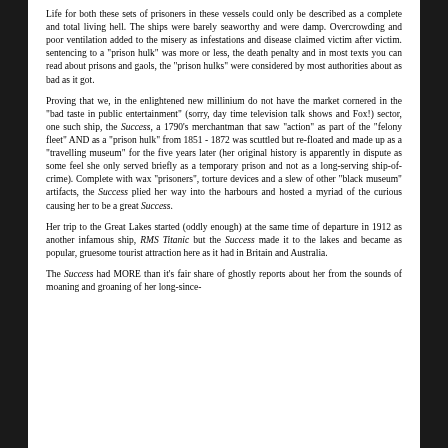Life for both these sets of prisoners in these vessels could only be described as a complete and total living hell. The ships were barely seaworthy and were damp. Overcrowding and poor ventilation added to the misery as infestations and disease claimed victim after victim. sentencing to a "prison hulk" was more or less, the death penalty and in most texts you can read about prisons and gaols, the "prison hulks" were considered by most authorities about as bad as it got.
Proving that we, in the enlightened new millinium do not have the market cornered in the "bad taste in public entertainment" (sorry, day time television talk shows and Fox!) sector, one such ship, the Success, a 1790's merchantman that saw "action" as part of the "felony fleet" AND as a "prison hulk" from 1851 - 1872 was scuttled but re-floated and made up as a "travelling museum" for the five years later (her original history is apparently in dispute as some feel she only served briefly as a temporary prison and not as a long-serving ship-of-crime). Complete with wax "prisoners", torture devices and a slew of other "black museum" artifacts, the Success plied her way into the harbours and hosted a myriad of the curious causing her to be a great Success.
Her trip to the Great Lakes started (oddly enough) at the same time of departure in 1912 as another infamous ship, RMS Titanic but the Success made it to the lakes and became as popular, gruesome tourist attraction here as it had in Britain and Australia.
The Success had MORE than it's fair share of ghostly reports about her from the sounds of moaning and groaning of her long-since-